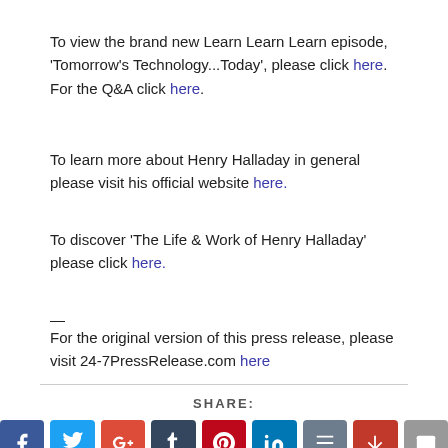To view the brand new Learn Learn Learn episode, 'Tomorrow's Technology...Today', please click here. For the Q&A click here.
To learn more about Henry Halladay in general please visit his official website here.
To discover 'The Life & Work of Henry Halladay' please click here.
—
For the original version of this press release, please visit 24-7PressRelease.com here
SHARE:
[Figure (infographic): Row of social media share icons: Facebook, Twitter, Google+, Tumblr, Pinterest, LinkedIn, StumbleUpon(?), StumbleUpon/Reddit, Email]